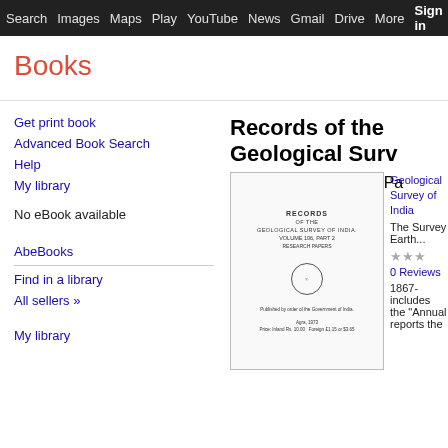Search  Images  Maps  Play  YouTube  News  Gmail  Drive  More  Sign in
Books
Get print book
Advanced Book Search
Help
My library
No eBook available
AbeBooks
Find in a library
All sellers »
My library
Records of the Geological Survey of India, Volume 106, Pa
[Figure (photo): Book cover of Records of the Geological Survey of India]
Geological Survey of India
The Survey Earth...
★★★
0 Reviews
1867- includes the "Annual reports the